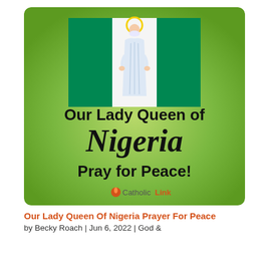[Figure (illustration): Illustration of Our Lady Queen of Nigeria. Green background with radial lighter center. Nigerian flag (green-white-green horizontal bands) at top. A figure of the Virgin Mary in white robes with a yellow halo stands in the white center band of the flag. Large bold text reads 'Our Lady Queen of' then large italic script 'Nigeria' then bold 'Pray for Peace!' CatholicLink logo at bottom center.]
Our Lady Queen Of Nigeria Prayer For Peace
by Becky Roach | Jun 6, 2022 | God &